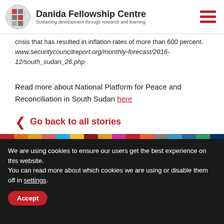Danida Fellowship Centre — Sustaining development through research and learning
crisis that has resulted in inflation rates of more than 600 percent. www.securitycouncilreport.org/monthly-forecast/2016-12/south_sudan_26.php
Read more about National Platform for Peace and Reconciliation in South Sudan here
Go back to all stories
We are using cookies to ensure our users get the best experience on this website.
You can read more about which cookies we are using or disable them off in settings.
Accept